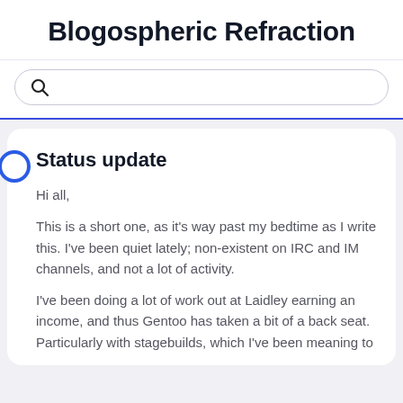Blogospheric Refraction
[Figure (other): Search bar with magnifying glass icon]
Status update
Hi all,
This is a short one, as it's way past my bedtime as I write this. I've been quiet lately; non-existent on IRC and IM channels, and not a lot of activity.
I've been doing a lot of work out at Laidley earning an income, and thus Gentoo has taken a bit of a back seat. Particularly with stagebuilds, which I've been meaning to